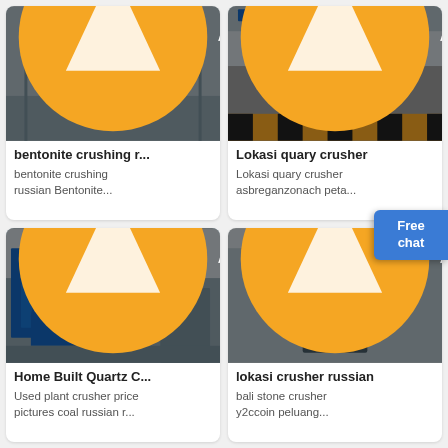[Figure (photo): Industrial crushing machine in factory, Acrusher branded — top left card image]
bentonite crushing r...
bentonite crushing russian Bentonite...
[Figure (photo): Large jaw crusher machine with flags visible, Acrusher branded — top right card image]
Lokasi quary crusher
Lokasi quary crusher asbreganzonach peta...
[Figure (photo): Industrial mineral processing plant with yellow scaffolding and blue tanks, Acrusher branded — bottom left]
Home Built Quartz C...
Used plant crusher price pictures coal russian r...
[Figure (photo): Vertical shaft crusher machine in facility, Acrusher branded — bottom right]
lokasi crusher russian
bali stone crusher y2ccoin peluang...